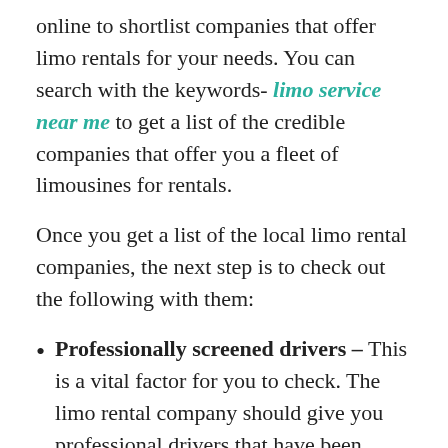online to shortlist companies that offer limo rentals for your needs. You can search with the keywords- limo service near me to get a list of the credible companies that offer you a fleet of limousines for rentals.
Once you get a list of the local limo rental companies, the next step is to check out the following with them:
Professionally screened drivers – This is a vital factor for you to check. The limo rental company should give you professional drivers that have been background-checked. This ensures when you are traveling in the limo, you